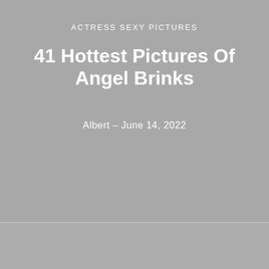ACTRESS SEXY PICTURES
41 Hottest Pictures Of Angel Brinks
Albert – June 14, 2022
[Figure (photo): Gray placeholder image area in lower portion of page]